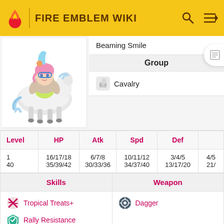FIRE EMBLEM WIKI
[Figure (illustration): Character illustration: a girl riding a white horse, with blue/pink hair and colorful outfit, in anime style]
Beaming Smile
| Group |
| --- |
| Cavalry |
| Level | HP | Atk | Spd | Def |  |
| --- | --- | --- | --- | --- | --- |
| 1 | 16/17/18 | 6/7/8 | 10/11/12 | 3/4/5 | 4/5... |
| 40 | 35/39/42 | 30/33/36 | 34/37/40 | 13/17/20 | 21/... |
| Skills | Weapon |
| --- | --- |
| Tropical Treats+
Rally Resistance | Dagger |
Skills